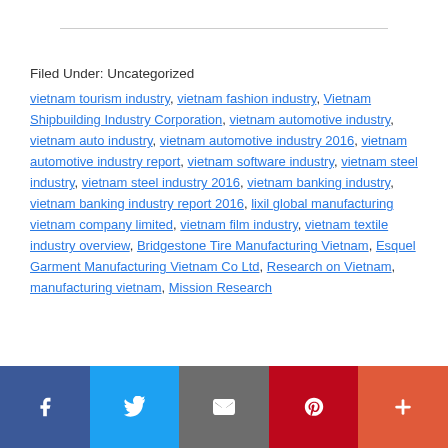Filed Under: Uncategorized
vietnam tourism industry, vietnam fashion industry, Vietnam Shipbuilding Industry Corporation, vietnam automotive industry, vietnam auto industry, vietnam automotive industry 2016, vietnam automotive industry report, vietnam software industry, vietnam steel industry, vietnam steel industry 2016, vietnam banking industry, vietnam banking industry report 2016, lixil global manufacturing vietnam company limited, vietnam film industry, vietnam textile industry overview, Bridgestone Tire Manufacturing Vietnam, Esquel Garment Manufacturing Vietnam Co Ltd, Research on Vietnam, manufacturing vietnam, Mission Research